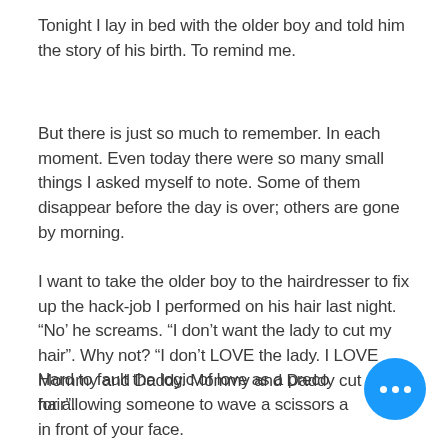Tonight I lay in bed with the older boy and told him the story of his birth. To remind me.
But there is just so much to remember. In each moment. Even today there were so many small things I asked myself to note. Some of them disappear before the day is over; others are gone by morning.
I want to take the older boy to the hairdresser to fix up the hack-job I performed on his hair last night. “No’ he screams. “I don’t want the lady to cut my hair”. Why not? “I don’t LOVE the lady. I LOVE Mommy and Daddy. Mommy and Daddy cut my hair”.
Hard to fault the logic of love as a preco... for allowing someone to wave a scissors a... in front of your face.